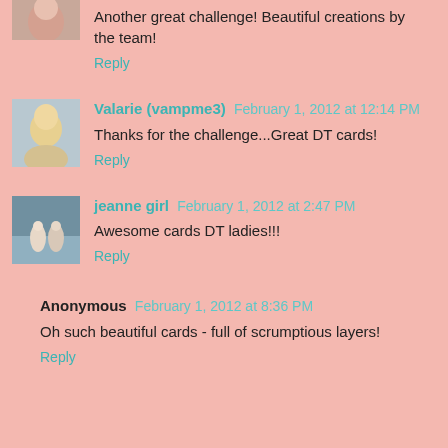Another great challenge! Beautiful creations by the team!
Reply
Valarie (vampme3) February 1, 2012 at 12:14 PM
Thanks for the challenge...Great DT cards!
Reply
jeanne girl February 1, 2012 at 2:47 PM
Awesome cards DT ladies!!!
Reply
Anonymous February 1, 2012 at 8:36 PM
Oh such beautiful cards - full of scrumptious layers!
Reply